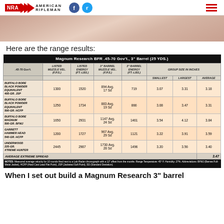NRA American Rifleman
[Figure (photo): Close-up photo of a finger/hand, blurred, pinkish tones]
Here are the range results:
| .45-70 Gov't | Listed Muzzle Vel. (F.P.S.) | Listed Energy (FT.-LBS.) | 3" Barrel Muzzle Vel. (F.P.S.) | 3" Barrel Energy (FT.-LBS.) | Group Size In Inches Smallest | Group Size In Inches Largest | Group Size In Inches Average |
| --- | --- | --- | --- | --- | --- | --- | --- |
| Buffalo Bore Black Powder Equivalent 405-Gr. JSP | 1300 | 1520 | 894 Avg. 17 Sd | 719 | 3.07 | 3.31 | 3.18 |
| Buffalo Bore Black Powder Equivalent 500-Gr. HCFP | 1250 | 1734 | 883 Avg. 19 Sd | 866 | 3.08 | 3.47 | 3.31 |
| Buffalo Bore Magnum 500-Gr. BFMJ | 1650 | 2931 | 1147 Avg. 24 Sd | 1461 | 3.54 | 4.12 | 3.84 |
| Garrett Hammer Head 540-Gr. HCFP | 1200 | 1727 | 967 Avg. 29 Sd | 1121 | 3.22 | 3.91 | 3.59 |
| Underwood 225-Gr. Xtreme Hunter | 2445 | 2987 | 1730 Avg. 28 Sd | 1496 | 3.20 | 3.56 | 3.40 |
| Average Extreme Spread |  |  |  |  |  |  | 3.47 |
NOTES: Measured average velocity for 10 rounds fired next to a Lab Radar chronograph with a 12" offset from the muzzle. Range Temperature: 45° F. Humidity: 27%. Abbreviations: BFMJ (Barnes Full-Metal Jacket), HCFP (Hard Cast Lead Flat Point), JSP (Jacketed Soft Point), SD (Standard Deviation).
When I set out build a Magnum Research 3" barrel